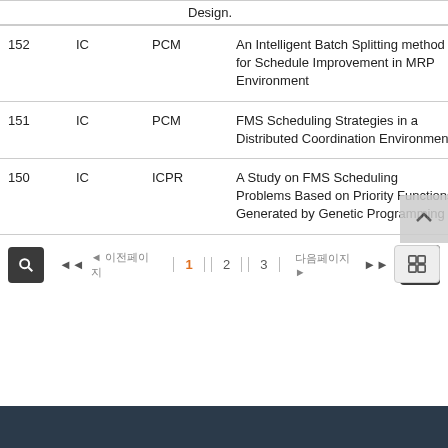| # | Type | Category | Title | Author |
| --- | --- | --- | --- | --- |
| 152 | IC | PCM | An Intelligent Batch Splitting method for Schedule Improvement in MRP Environment | Hani... |
| 151 | IC | PCM | FMS Scheduling Strategies in a Distributed Coordination Environment | Jonah... |
| 150 | IC | ICPR | A Study on FMS Scheduling Problems Based on Priority Functions Generated by Genetic Programming | Chan... |
[Figure (other): Pagination controls with search button, tag button, page numbers (1 active, 2, 3), and grid view button]